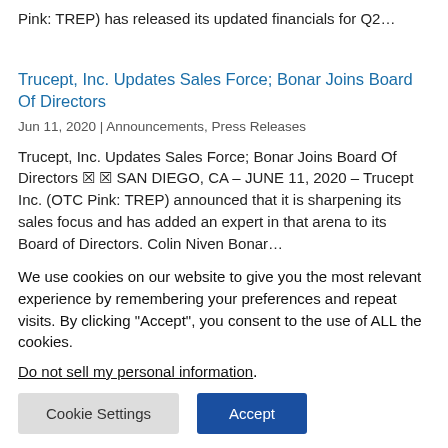Pink: TREP) has released its updated financials for Q2…
Trucept, Inc. Updates Sales Force; Bonar Joins Board Of Directors
Jun 11, 2020 | Announcements, Press Releases
Trucept, Inc. Updates Sales Force; Bonar Joins Board Of Directors ⊠ ⊠ SAN DIEGO, CA – JUNE 11, 2020 – Trucept Inc. (OTC Pink: TREP) announced that it is sharpening its sales focus and has added an expert in that arena to its Board of Directors. Colin Niven Bonar…
We use cookies on our website to give you the most relevant experience by remembering your preferences and repeat visits. By clicking "Accept", you consent to the use of ALL the cookies.
Do not sell my personal information.
Cookie Settings
Accept